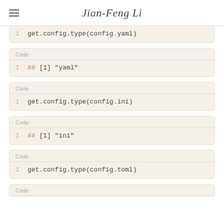Jian-Feng Li
get.config.type(config.yaml)
Code
## [1] "yaml"
Code
get.config.type(config.ini)
Code
## [1] "ini"
Code
get.config.type(config.toml)
Code